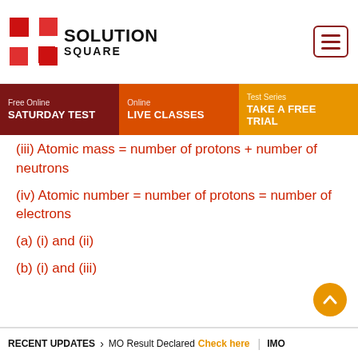[Figure (logo): Solution Square logo with red grid squares and bold text SOLUTION SQUARE]
Free Online SATURDAY TEST | Online LIVE CLASSES | Test Series TAKE A FREE TRIAL
(iii) Atomic mass = number of protons + number of neutrons
(iv) Atomic number = number of protons = number of electrons
(a) (i) and (ii)
(b) (i) and (iii)
RECENT UPDATES > MO Result Declared Check here | IMO